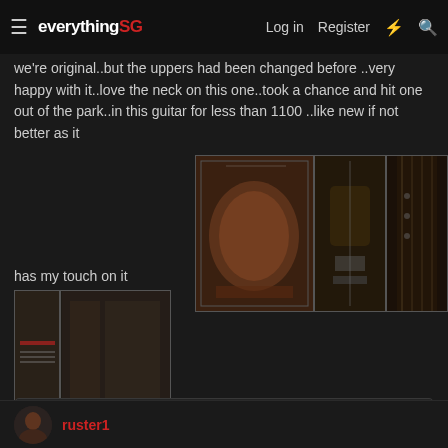everythingSG  Log in  Register
we're original..but the uppers had been changed before ..very happy with it..love the neck on this one..took a chance and hit one out of the park..in this guitar for less than 1100 ..like new if not better as it
[Figure (photo): Guitar in open hardshell case with red lining, in music store setting]
[Figure (photo): Electric guitar body (SG style, dark finish) close-up showing pickups and bridge]
[Figure (photo): Guitar neck and fretboard close-up]
has my touch on it
[Figure (photo): Guitar stored in closet/rack setting, side view]
Last edited: May 5, 2019
musicman2242, pancake81 and PermissionToLand
ruster1